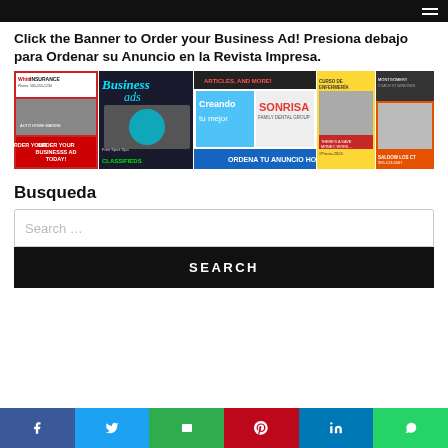Click the Banner to Order your Business Ad! Presiona debajo para Ordenar su Anuncio en la Revista Impresa.
[Figure (illustration): Composite banner showing various business advertisements including insurance, business ads, classifieds, dental group, nursing course, and other services. Bottom text reads: ORDER YOUR BUSINESSS AD TODAY! / CLASSIFIEDS / ORDENA TU ANUNCIO HOY]
Busqueda
Search ...
SEARCH
Social share buttons: Facebook, Twitter, Email, Pinterest, LinkedIn, WhatsApp